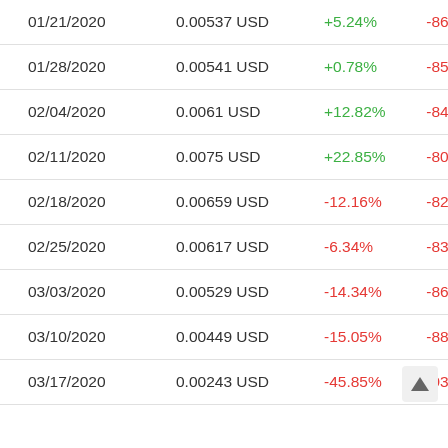| Date | Price | Weekly Change | Total Change |
| --- | --- | --- | --- |
| 01/21/2020 | 0.00537 USD | +5.24% | -86.04% |
| 01/28/2020 | 0.00541 USD | +0.78% | -85.93% |
| 02/04/2020 | 0.0061 USD | +12.82% | -84.13% |
| 02/11/2020 | 0.0075 USD | +22.85% | -80.50% |
| 02/18/2020 | 0.00659 USD | -12.16% | -82.87% |
| 02/25/2020 | 0.00617 USD | -6.34% | -83.96% |
| 03/03/2020 | 0.00529 USD | -14.34% | -86.26% |
| 03/10/2020 | 0.00449 USD | -15.05% | -88.33% |
| 03/17/2020 | 0.00243 USD | -45.85% | -93.68% |